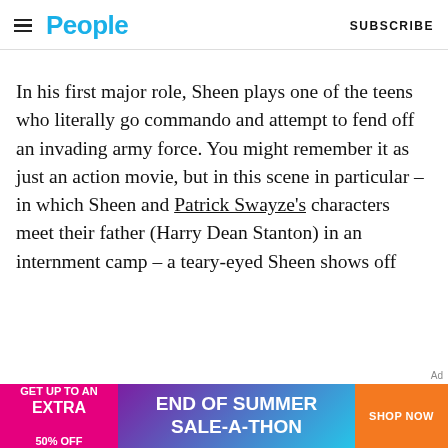People | SUBSCRIBE
In his first major role, Sheen plays one of the teens who literally go commando and attempt to fend off an invading army force. You might remember it as just an action movie, but in this scene in particular – in which Sheen and Patrick Swayze's characters meet their father (Harry Dean Stanton) in an internment camp – a teary-eyed Sheen shows off
[Figure (infographic): Advertisement banner: GET UP TO AN EXTRA 50% OFF | END OF SUMMER SALE-A-THON | SHOP NOW]